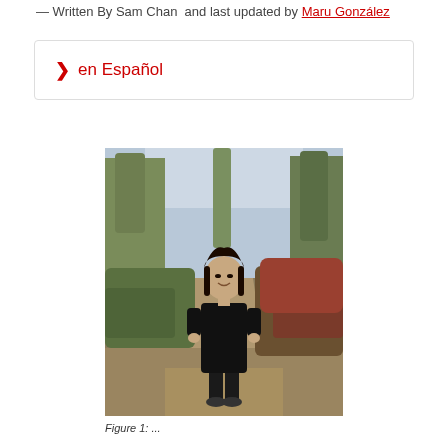— Written By Sam Chan  and last updated by Maru González
> en Español
[Figure (photo): A young woman in a black dress standing on a dirt trail surrounded by autumn trees and shrubs, smiling at the camera.]
Figure 1: ...